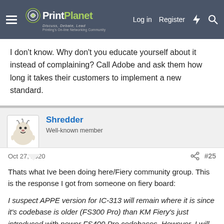PrintPlanet — Log in | Register
I don't know. Why don't you educate yourself about it instead of complaining? Call Adobe and ask them how long it takes their customers to implement a new standard.
Shredder
Well-known member
Oct 27, 2020  #25
Thats what Ive been doing here/Fiery community group. This is the response I got from someone on fiery board:

I suspect APPE version for IC-313 will remain where it is since it's codebase is older (FS300 Pro) than KM Fiery's just introduced with newer FS400 Pro codebases. However, I will check to see if APPE 5 is in pipeline for IC-313 and get back to you.
I wonder if KM and ...